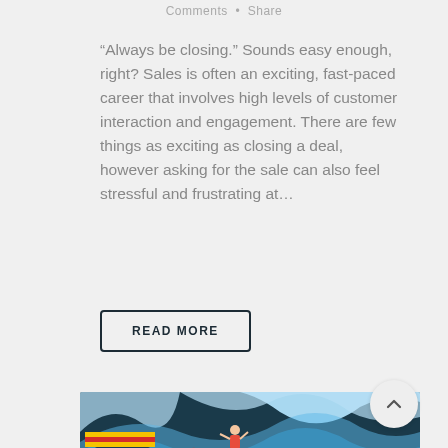Comments • Share
“Always be closing.” Sounds easy enough, right? Sales is often an exciting, fast-paced career that involves high levels of customer interaction and engagement. There are few things as exciting as closing a deal, however asking for the sale can also feel stressful and frustrating at…
READ MORE
[Figure (illustration): Promotional image for 'Churn & Return: Winning Back Former Customers' showing an isometric illustration of a store cannon launching customers against a dark teal and light blue background.]